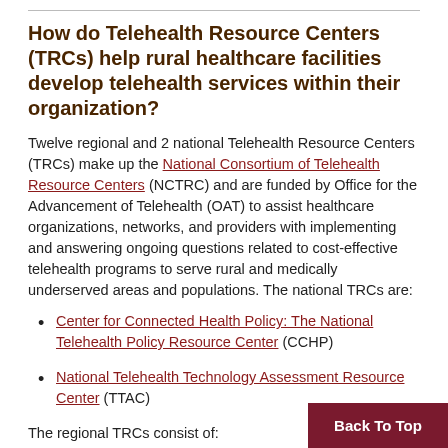How do Telehealth Resource Centers (TRCs) help rural healthcare facilities develop telehealth services within their organization?
Twelve regional and 2 national Telehealth Resource Centers (TRCs) make up the National Consortium of Telehealth Resource Centers (NCTRC) and are funded by Office for the Advancement of Telehealth (OAT) to assist healthcare organizations, networks, and providers with implementing and answering ongoing questions related to cost-effective telehealth programs to serve rural and medically underserved areas and populations. The national TRCs are:
Center for Connected Health Policy: The National Telehealth Policy Resource Center (CCHP)
National Telehealth Technology Assessment Resource Center (TTAC)
The regional TRCs consist of: